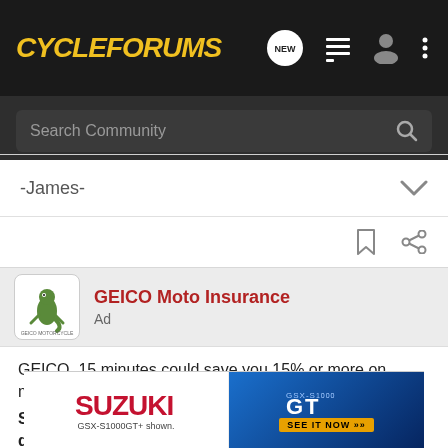[Figure (screenshot): CycleForums mobile app top navigation bar with yellow italic logo on dark background and icons for new posts, list, profile, and menu]
[Figure (screenshot): Dark search bar with 'Search Community' placeholder text and magnifying glass icon]
-James-
[Figure (logo): GEICO Moto Insurance ad header with gecko logo, advertiser name in red bold, and 'Ad' label]
GEICO. 15 minutes could save you 15% or more on motorcycle insurance, too.
Shopping for a new bike? You could get a shiny, new quote & see how much you could save.
[Figure (photo): Suzuki GSX-S1000GT+ advertisement banner with motorcycle and 'SEE IT NOW' call to action]